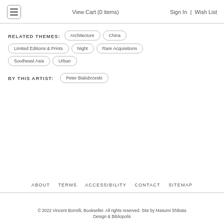View Cart (0 items)  Sign In | Wish List
RELATED THEMES: Architecture  China  Limited Editions & Prints  Night  Rare Acquisitions  Southeast Asia  Urban
BY THIS ARTIST: Peter Bialobrzeski
ABOUT  TERMS  ACCESSIBILITY  CONTACT  SITEMAP
© 2022 Vincent Borrelli, Bookseller. All rights reserved. Site by Masumi Shibata Design & Bibliopolis